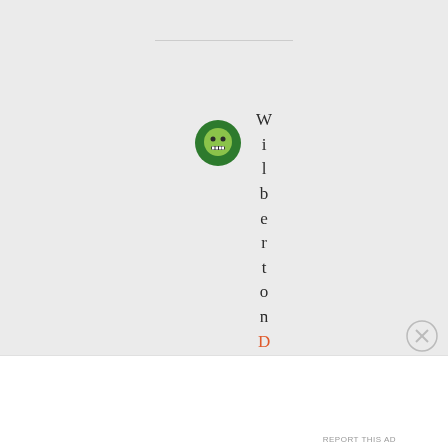[Figure (illustration): Green circular avatar icon with a stylized face, and vertically stacked letters spelling 'WilbertonDece' where 'Dece' is in orange]
Advertisements
[Figure (logo): P2 logo - a small box icon next to text 'P2']
Getting your team on the same page is easy. And free.
REPORT THIS AD